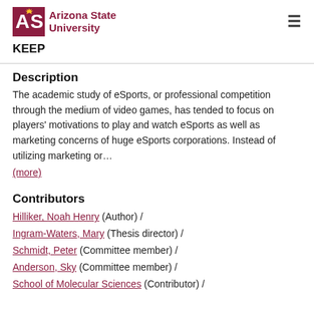Arizona State University — KEEP
Description
The academic study of eSports, or professional competition through the medium of video games, has tended to focus on players' motivations to play and watch eSports as well as marketing concerns of huge eSports corporations. Instead of utilizing marketing or…
(more)
Contributors
Hilliker, Noah Henry (Author)  /
Ingram-Waters, Mary (Thesis director)  /
Schmidt, Peter (Committee member)  /
Anderson, Sky (Committee member)  /
School of Molecular Sciences (Contributor)  /